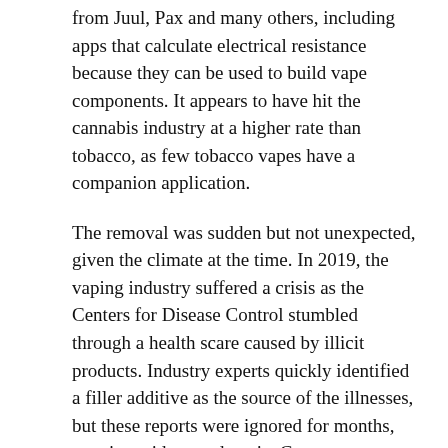from Juul, Pax and many others, including apps that calculate electrical resistance because they can be used to build vape components. It appears to have hit the cannabis industry at a higher rate than tobacco, as few tobacco vapes have a companion application.
The removal was sudden but not unexpected, given the climate at the time. In 2019, the vaping industry suffered a crisis as the Centers for Disease Control stumbled through a health scare caused by illicit products. Industry experts quickly identified a filler additive as the source of the illnesses, but these reports were ignored for months, creating widespread panic. Consumer sentiment promptly settled on the conclusion that all vapes are harmful, even when clear data shows the opposite. Vapes sourced through legal means are proven to be safer alternatives than other consumption methods.